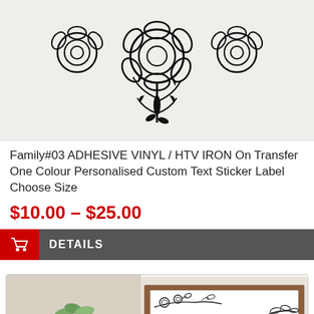[Figure (photo): Floral rose illustration with black outlines on a light wood/white background - product image for vinyl sticker]
Family#03 ADHESIVE VINYL / HTV IRON On Transfer One Colour Personalised Custom Text Sticker Label Choose Size
$10.00 – $25.00
DETAILS
[Figure (photo): Second product image showing a decorative floral sign with 'the' text visible, beside a plant arrangement with eucalyptus and cotton stems in a white pot]